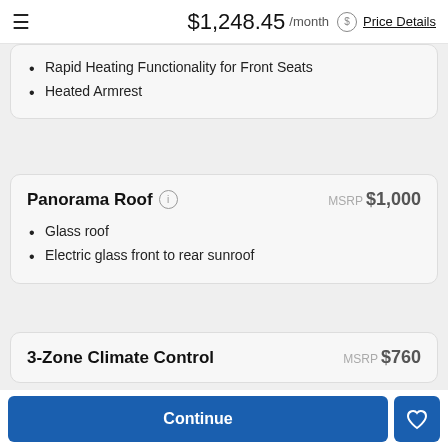$1,248.45 /month  Price Details
Rapid Heating Functionality for Front Seats
Heated Armrest
Panorama Roof  MSRP $1,000
Glass roof
Electric glass front to rear sunroof
3-Zone Climate Control  MSRP $760
Continue